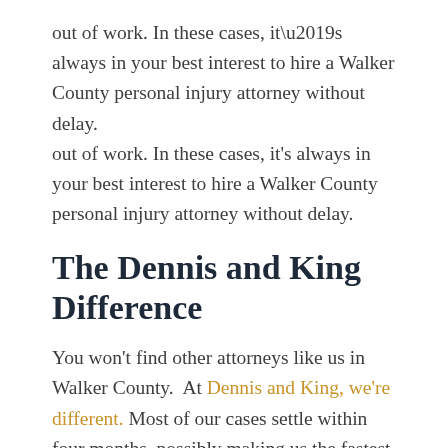out of work. In these cases, it’s always in your best interest to hire a Walker County personal injury attorney without delay.
The Dennis and King Difference
You won’t find other attorneys like us in Walker County.  At Dennis and King, we’re different. Most of our cases settle within four months, possibly making us the fastest in the area without sacrificing value.
As our client, you control your case. We aim to help you make informed legal decisions about your